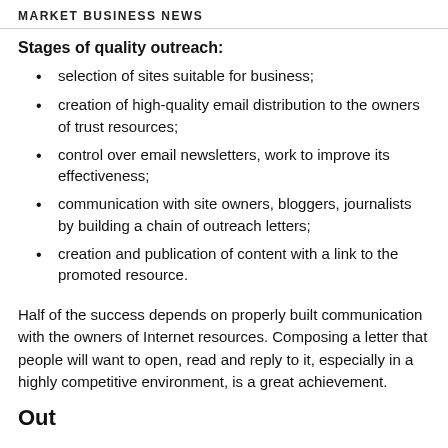MARKET BUSINESS NEWS
Stages of quality outreach:
selection of sites suitable for business;
creation of high-quality email distribution to the owners of trust resources;
control over email newsletters, work to improve its effectiveness;
communication with site owners, bloggers, journalists by building a chain of outreach letters;
creation and publication of content with a link to the promoted resource.
Half of the success depends on properly built communication with the owners of Internet resources. Composing a letter that people will want to open, read and reply to it, especially in a highly competitive environment, is a great achievement.
Outbl...